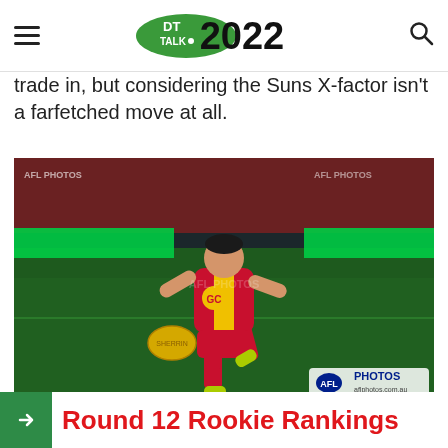DT TALK 2022
trade in, but considering the Suns X-factor isn't a farfetched move at all.
[Figure (photo): An AFL player in a Gold Coast Suns red and yellow guernsey kicking a yellow Sherrin football on a green grass oval at night. AFL Photos watermark visible. GC logo on jersey.]
Round 12 Rookie Rankings